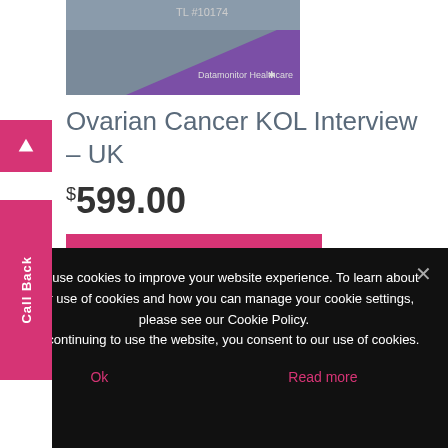[Figure (other): Product cover image showing Datamonitor Healthcare branded report cover with TL #10174 label, grey and purple design]
Ovarian Cancer KOL Interview – UK
$599.00
Add to cart
A UK-based key opinion leader (KOL) provides insights into prescribing habits, key marketed brands,
We use cookies to improve your website experience. To learn about our use of cookies and how you can manage your cookie settings, please see our Cookie Policy.
By continuing to use the website, you consent to our use of cookies.
Ok
Read more